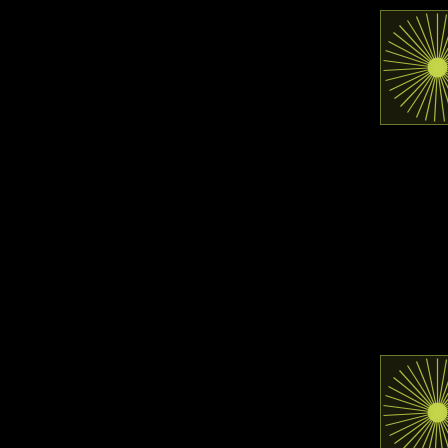[Figure (logo): Green radial sunburst pattern on dark background, square avatar image]
Track 7 contains the original story that Bill Cosby talks about in his famous Chicken Heart comedy routine.
Posted by: OldRadioFa | October 27, 2007 at 04:50 PM
[Figure (logo): Green radial sunburst pattern on dark background, square avatar image]
...at
http://ww